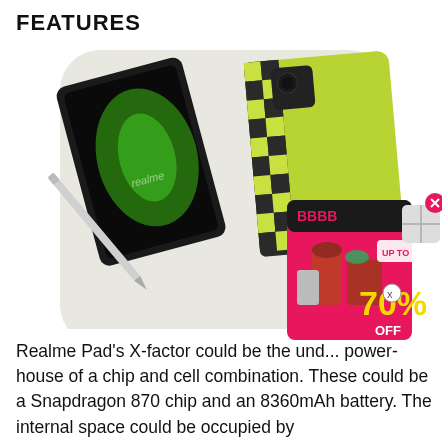FEATURES
[Figure (photo): Product photo of a Realme Pad X tablet in green color with checkered pattern edge, shown from front and back angles with a stylus pen, on a light gray rounded-square background.]
[Figure (photo): Advertisement overlay showing a red box with kitchen appliances, text reading 'UP TO 70% OFF' with a close button (x) in the top right corner.]
Realme Pad's X-factor could be the und... power-house of a chip and cell combination. These could be a Snapdragon 870 chip and an 8360mAh battery. The internal space could be occupied by